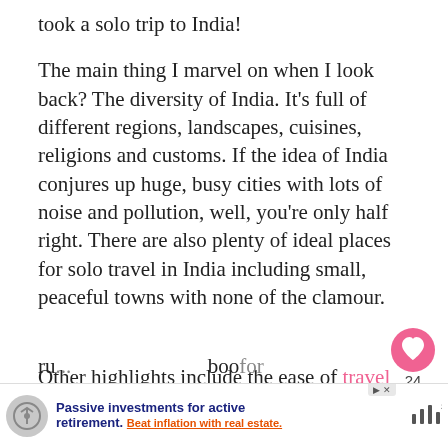took a solo trip to India!
The main thing I marvel on when I look back? The diversity of India. It’s full of different regions, landscapes, cuisines, religions and customs. If the idea of India conjures up huge, busy cities with lots of noise and pollution, well, you’re only half right. There are also plenty of ideal places for solo travel in India including small, peaceful towns with none of the clamour.
Other highlights include the ease of travelling India on a budget with accommodation from 200 ru... boo for
[Figure (infographic): Pink heart like button with count 24, and share icon below it on the right side of page]
[Figure (infographic): Advertisement banner: Passive investments for active retirement. Beat inflation with real estate. Shows a shield/circle logo on left and sound wave icon on right.]